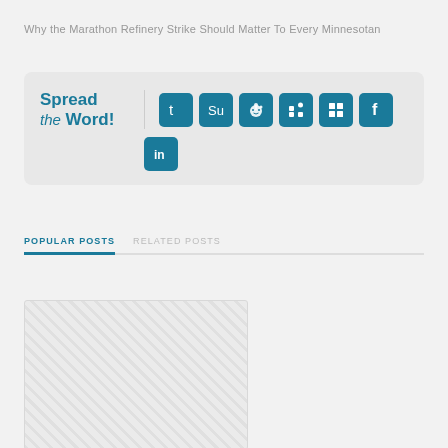Why the Marathon Refinery Strike Should Matter To Every Minnesotan
[Figure (infographic): Spread the Word social sharing widget with icons for Twitter, StumbleUpon, Reddit, a person/community icon, Windows, Facebook, and LinkedIn]
POPULAR POSTS
RELATED POSTS
[Figure (photo): Placeholder image with diagonal hatch pattern representing a post thumbnail]